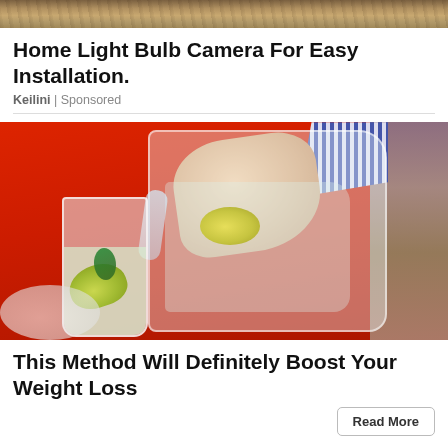[Figure (photo): Top partial photo of outdoor/nature scene cropped at top of page]
Home Light Bulb Camera For Easy Installation.
Keilini | Sponsored
[Figure (photo): Person in red sweater pouring water with lemon from a clear pitcher into a glass with lemon slice and mint]
This Method Will Definitely Boost Your Weight Loss
Read More